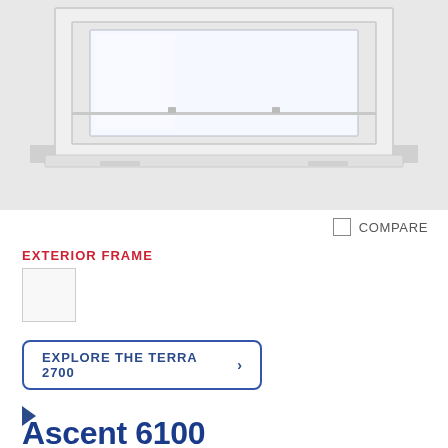[Figure (photo): Product photo of a white window unit (Terra 2700) shown from an angled perspective, with white frame and glazing visible against a light gray background.]
COMPARE
EXTERIOR FRAME
[Figure (other): White color swatch square for exterior frame color selection]
EXPLORE THE TERRA 2700 >
▶
Ascent 6100
You shouldn't have to choose between high performance and value. Which is why we have created a desirable, high-